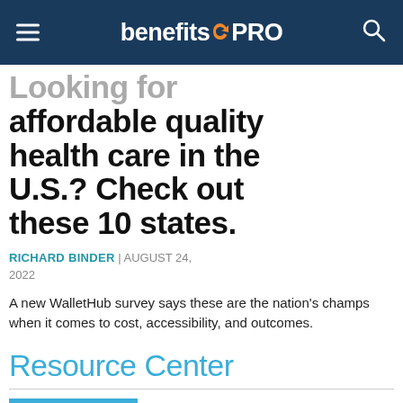benefitsPRO
Looking for affordable quality health care in the U.S.? Check out these 10 states.
RICHARD BINDER | AUGUST 24, 2022
A new WalletHub survey says these are the nation's champs when it comes to cost, accessibility, and outcomes.
Resource Center
COVERAGE GAPS